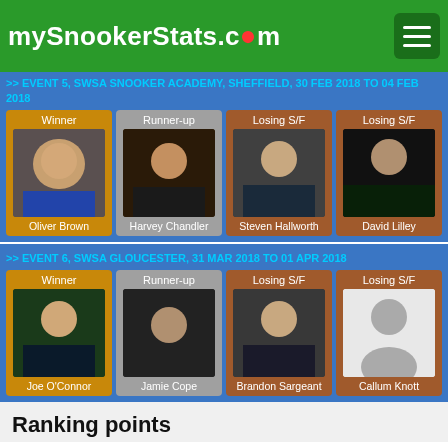mySnookerStats.com
>> EVENT 5, SWSA SNOOKER ACADEMY, SHEFFIELD, 30 FEB 2018 TO 04 FEB 2018
[Figure (other): Event 5 results cards: Winner Oliver Brown, Runner-up Harvey Chandler, Losing S/F Steven Hallworth, Losing S/F David Lilley]
>> EVENT 6, SWSA GLOUCESTER, 31 MAR 2018 TO 01 APR 2018
[Figure (other): Event 6 results cards: Winner Joe O'Connor, Runner-up Jamie Cope, Losing S/F Brandon Sargeant, Losing S/F Callum Knott]
Ranking points